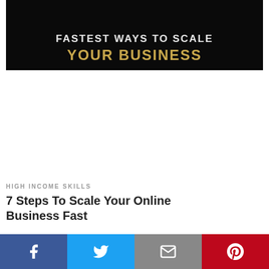[Figure (illustration): Dark background banner image with text: 'FASTEST WAYS TO SCALE YOUR BUSINESS']
HIGH INCOME SKILLS
7 Steps To Scale Your Online Business Fast
[Figure (infographic): Social share bar with Facebook, Twitter, Email, and Pinterest buttons]